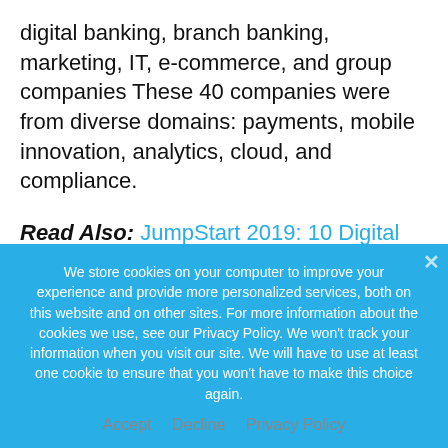digital banking, branch banking, marketing, IT, e-commerce, and group companies These 40 companies were from diverse domains: payments, mobile innovation, analytics, cloud, and compliance.
Read Also: JumpStart 2019: 10 Digital Transformation Trends At Your Fingertips
Shortlisted companies presented their ideas to
We store cookies on your computer to improve your experience and provide more personalized services, both on this website and on other sites. For more information about the cookies we use, see our Privacy Policy. We won't track your information when you visit our site. We will have to use at least one cookie to ensure that you won't have to make this choice again.
Accept   Decline   Privacy Policy